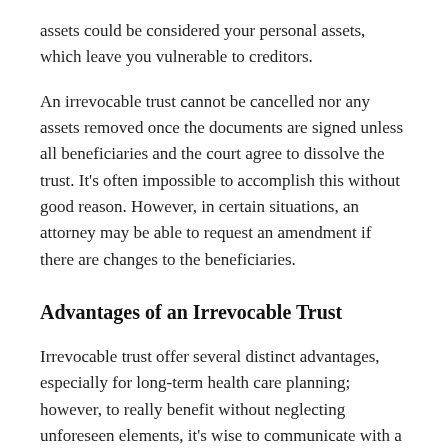assets could be considered your personal assets, which leave you vulnerable to creditors.
An irrevocable trust cannot be cancelled nor any assets removed once the documents are signed unless all beneficiaries and the court agree to dissolve the trust. It's often impossible to accomplish this without good reason. However, in certain situations, an attorney may be able to request an amendment if there are changes to the beneficiaries.
Advantages of an Irrevocable Trust
Irrevocable trust offer several distinct advantages, especially for long-term health care planning; however, to really benefit without neglecting unforeseen elements, it's wise to communicate with a Florida attorney. Consider the benefits of an irrevocable trust;